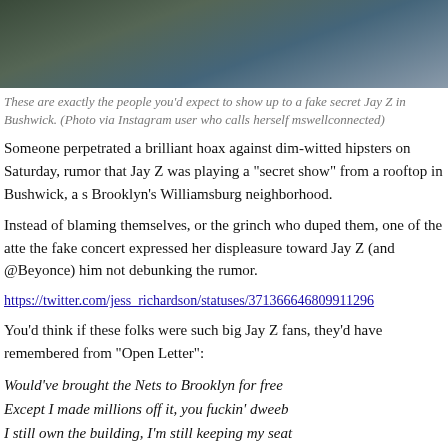[Figure (photo): Photo of people at a rooftop event in Bushwick, Brooklyn]
These are exactly the people you'd expect to show up to a fake secret Jay Z in Bushwick. (Photo via Instagram user who calls herself mswellconnected)
Someone perpetrated a brilliant hoax against dim-witted hipsters on Saturday, rumor that Jay Z was playing a "secret show" from a rooftop in Bushwick, a s Brooklyn's Williamsburg neighborhood.
Instead of blaming themselves, or the grinch who duped them, one of the atte the fake concert expressed her displeasure toward Jay Z (and @Beyonce) him not debunking the rumor.
https://twitter.com/jess_richardson/statuses/371366646809911296
You'd think if these folks were such big Jay Z fans, they'd have remembered from "Open Letter":
Would've brought the Nets to Brooklyn for free
Except I made millions off it, you fuckin' dweeb
I still own the building, I'm still keeping my seat